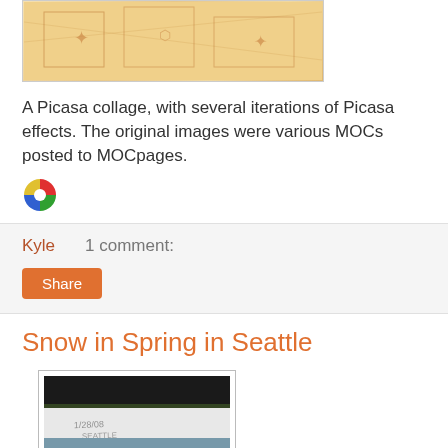[Figure (photo): A Picasa collage image showing various MOC images with orange/tan artistic effects]
A Picasa collage, with several iterations of Picasa effects. The original images were various MOCs posted to MOCpages.
[Figure (logo): Picasa logo icon — colorful pinwheel icon]
Kyle    1 comment:
Share
Snow in Spring in Seattle
[Figure (photo): Photo showing snow on the ground with text written in snow reading 1/28/08 SEATTLE]